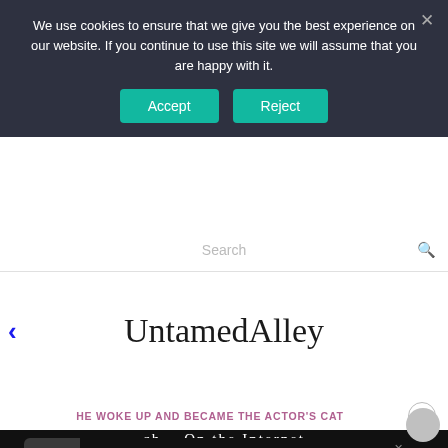We use cookies to ensure that we give you the best experience on our website. If you continue to use this site we will assume that you are happy with it.
[Figure (screenshot): Cookie consent banner with Accept and Reject buttons on dark background]
UntamedAlley
HE WOKE UP AND BECAME THE ACTOR'S CAT
[Figure (screenshot): Advertisement banner for Freestar tailored ad management solutions with Learn More button]
ch    On the Internet